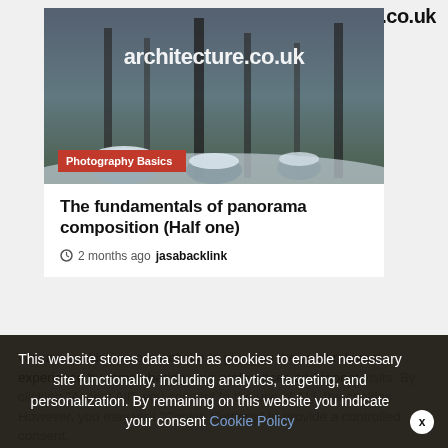architecture.co.uk
[Figure (photo): Winter forest landscape with snow-covered rocks and trees. A red label reads 'Photography Basics'. Site logo 'architecture.co.uk' overlaid in white.]
The fundamentals of panorama composition (Half one)
2 months ago   jasabacklink
We use cookies on our website to give you the most relevant experience by remembering your preferences and repeat visits. By clicking "Accept All", you consent to the use of ALL the cookies. However, you may visit "Cookie Settings" to provide a controlled consent.
This website stores data such as cookies to enable necessary site functionality, including analytics, targeting, and personalization. By remaining on this website you indicate your consent Cookie Policy